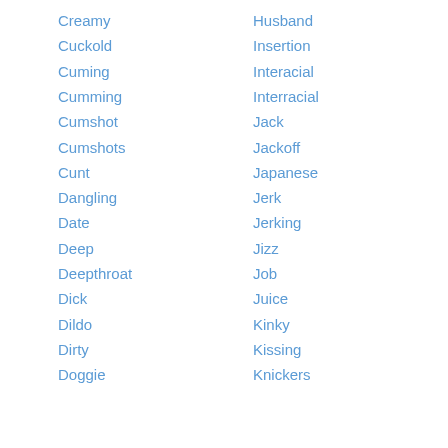Creamy
Cuckold
Cuming
Cumming
Cumshot
Cumshots
Cunt
Dangling
Date
Deep
Deepthroat
Dick
Dildo
Dirty
Doggie
Husband
Insertion
Interacial
Interracial
Jack
Jackoff
Japanese
Jerk
Jerking
Jizz
Job
Juice
Kinky
Kissing
Knickers